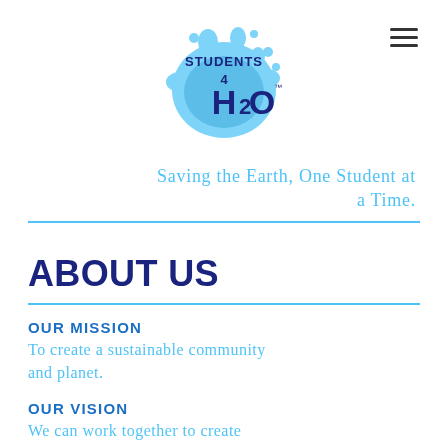[Figure (logo): Students 4 H2O logo: blue water droplet splash shape with 'STUDENTS 4 H2O' text in dark navy blue bold font]
Saving the Earth, One Student at a Time.
ABOUT US
OUR MISSION
To create a sustainable community and planet.
OUR VISION
We can work together to create